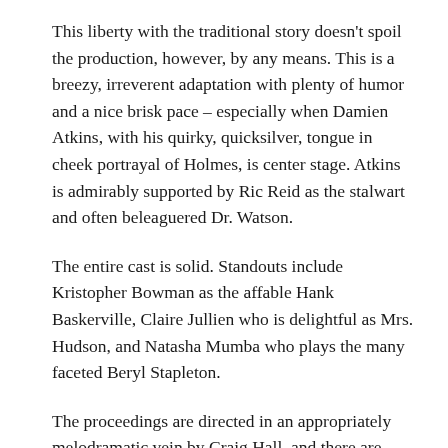This liberty with the traditional story doesn't spoil the production, however, by any means. This is a breezy, irreverent adaptation with plenty of humor and a nice brisk pace – especially when Damien Atkins, with his quirky, quicksilver, tongue in cheek portrayal of Holmes, is center stage. Atkins is admirably supported by Ric Reid as the stalwart and often beleaguered Dr. Watson.
The entire cast is solid. Standouts include Kristopher Bowman as the affable Hank Baskerville, Claire Jullien who is delightful as Mrs. Hudson, and Natasha Mumba who plays the many faceted Beryl Stapleton.
The proceedings are directed in an appropriately melodramatic vein by Craig Hall, and there are plenty of inventive and humorous touches. The production is